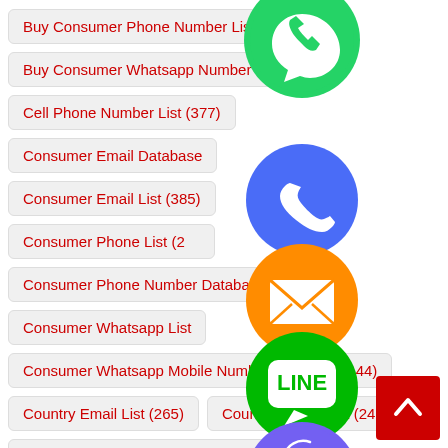Buy Consumer Phone Number List (190)
Buy Consumer Whatsapp Number List (144)
Cell Phone Number List (377)
Consumer Email Database
Consumer Email List (385)
Consumer Phone List (2…)
Consumer Phone Number Database (227)
Consumer Whatsapp List
Consumer Whatsapp Mobile Number Database (144)
Country Email List (265)
Country Phone List (242)
Country Whatsapp Phone Number List (144)
Job Function Email Database (120)
[Figure (infographic): Overlapping social media icons: WhatsApp (green), phone (blue/purple), email envelope (orange), LINE (green), Viber (purple), and a close/X button (green). These icons are layered over the list items.]